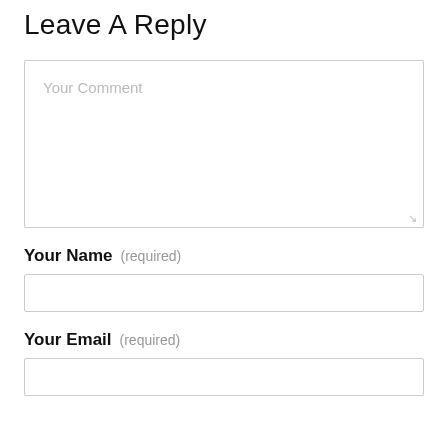Leave A Reply
Your Comment (placeholder)
Your Name (required)
Your Email (required)